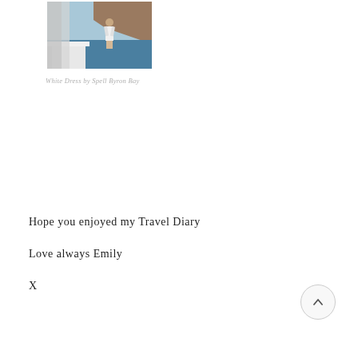[Figure (photo): A woman in a white dress standing on a boat deck with rocky cliffs and blue sea in the background, likely Santorini, Greece.]
White Dress by Spell Byron Bay
Hope you enjoyed my Travel Diary
Love always Emily
X
[Figure (other): A circular scroll-to-top button with an upward-pointing chevron arrow icon.]